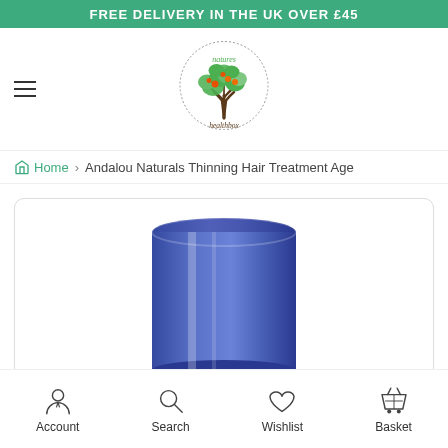FREE DELIVERY IN THE UK OVER £45
[Figure (logo): Natures Healthbox logo — tree with green leaves and orange fruits inside a dotted circle]
Home › Andalou Naturals Thinning Hair Treatment Age
[Figure (photo): Blue cylindrical product container (Andalou Naturals Thinning Hair Treatment) on white background]
Account   Search   Wishlist   Basket